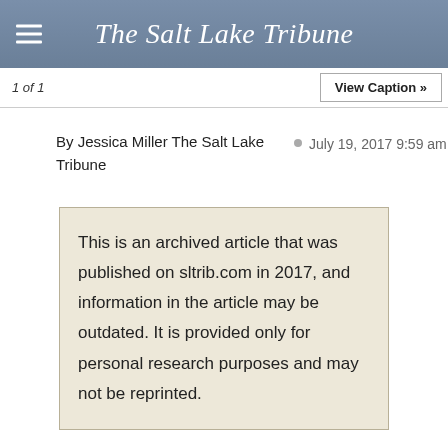The Salt Lake Tribune
1 of 1
View Caption »
By Jessica Miller The Salt Lake Tribune
July 19, 2017 9:59 am
This is an archived article that was published on sltrib.com in 2017, and information in the article may be outdated. It is provided only for personal research purposes and may not be reprinted.